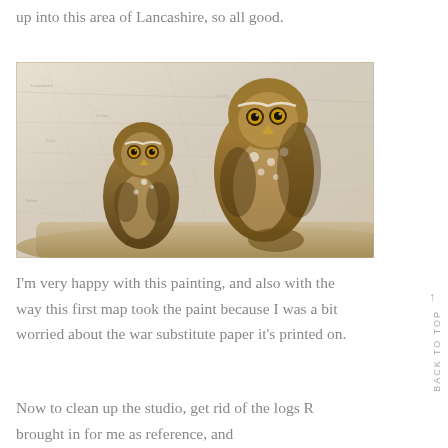up into this area of Lancashire, so all good.
[Figure (photo): Painting of two little owls perched on a log, rendered on an antique map background. The owls are brown and white with yellow eyes, depicted in a realistic watercolour style against a pale map showing roads and place names.]
I'm very happy with this painting, and also with the way this first map took the paint because I was a bit worried about the war substitute paper it's printed on.
Now to clean up the studio, get rid of the logs R brought in for me as reference, and